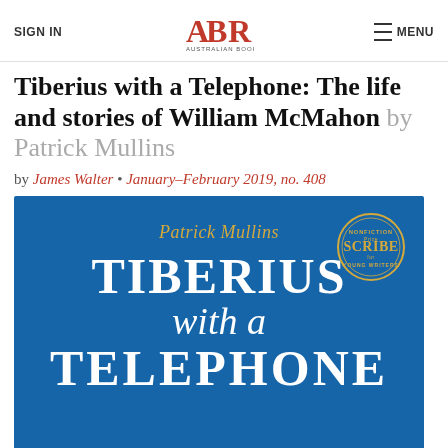SIGN IN | ABR Australian Book Review | MENU
Tiberius with a Telephone: The life and stories of William McMahon by Patrick Mullins
by James Walter • January–February 2019, no. 408
[Figure (illustration): Book cover of 'Tiberius with a Telephone' by Patrick Mullins. Blue background with author name in gold italic script at top, large white bold serif title 'TIBERIUS' then italic 'with a' then bold 'TELEPHONE'. A circular Scribe Nonfiction Prize for Young Writers badge in gold appears in top right.]